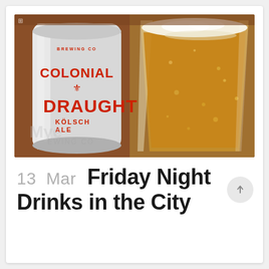[Figure (photo): Photo of a Colonial Brewing Co Draught Kölsch Ale can on the left and a glass of beer with bubbles on the right, set on a wooden surface in a bar setting.]
13  Mar  Friday Night Drinks in the City